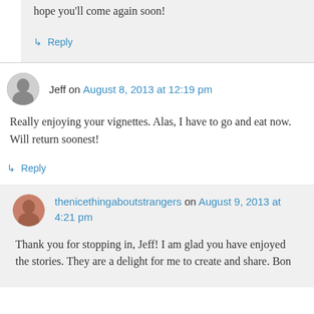hope you'll come again soon!
↳ Reply
Jeff on August 8, 2013 at 12:19 pm
Really enjoying your vignettes. Alas, I have to go and eat now. Will return soonest!
↳ Reply
thenicethingaboutstrangers on August 9, 2013 at 4:21 pm
Thank you for stopping in, Jeff! I am glad you have enjoyed the stories. They are a delight for me to create and share. Bon